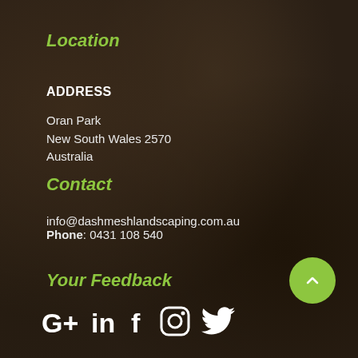Location
ADDRESS
Oran Park
New South Wales 2570
Australia
Contact
info@dashmeshlandscaping.com.au
Phone: 0431 108 540
Your Feedback
[Figure (infographic): Social media icons: Google+, LinkedIn, Facebook, Instagram, Twitter]